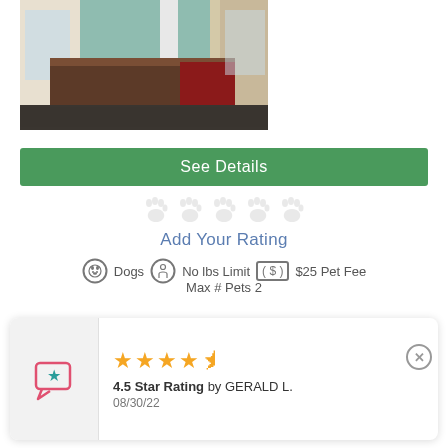[Figure (photo): Interior photo of a hotel lobby/reception area with wooden front desk, green wall, and yellow/cream walls]
See Details
[Figure (illustration): Five paw print rating icons (empty/outline style)]
Add Your Rating
Dogs   No lbs Limit   $25 Pet Fee
Max # Pets 2
[Figure (illustration): Review card with 4.5 star rating, reviewer icon, rating by GERALD L., dated 08/30/22]